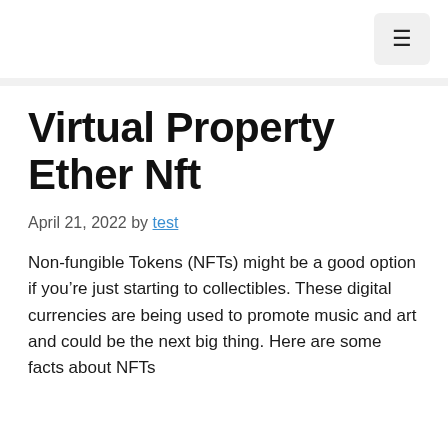≡
Virtual Property Ether Nft
April 21, 2022 by test
Non-fungible Tokens (NFTs) might be a good option if you're just starting to collectibles. These digital currencies are being used to promote music and art and could be the next big thing. Here are some facts about NFTs